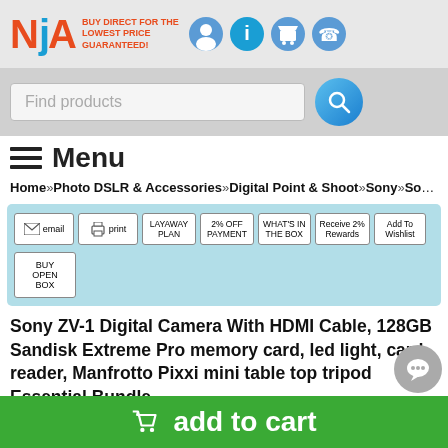[Figure (logo): NjA logo with tagline BUY DIRECT FOR THE LOWEST PRICE GUARANTEED! and navigation icons (person, info, cart, phone)]
Find products
≡ Menu
Home » Photo DSLR & Accessories » Digital Point & Shoot » Sony » Sony ZV-1
[Figure (screenshot): Action buttons: email, print, LAYAWAY PLAN, 2% OFF PAYMENT, WHAT'S IN THE BOX, Receive 2% Rewards, Add To Wishlist, BUY OPEN BOX]
Sony ZV-1 Digital Camera With HDMI Cable, 128GB Sandisk Extreme Pro memory card, led light, card reader, Manfrotto Pixxi mini table top tripod Essential Bundle
add to cart